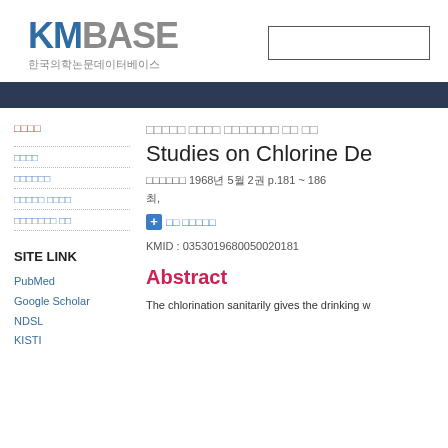[Figure (logo): KMBASE logo with Korean text 한국의학논문데이터베이스]
SITE LINK
PubMed
Google Scholar
NDSL
Studies on Chlorine De...
1968년 5월 2권 p.181 ~ 186
최,
KMID : 0353019680050020181
Abstract
The chlorination sanitarily gives the drinking w...